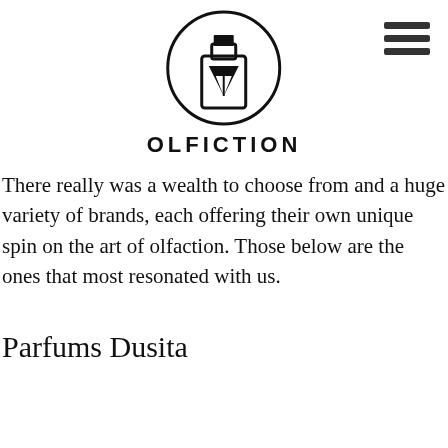[Figure (logo): Olfiction logo: a circle containing a perfume bottle with a fountain pen nib, above the brand name OLFICTION in bold uppercase letters]
[Figure (other): Hamburger menu icon: three horizontal dark bars stacked vertically]
There really was a wealth to choose from and a huge variety of brands, each offering their own unique spin on the art of olfaction. Those below are the ones that most resonated with us.
Parfums Dusita